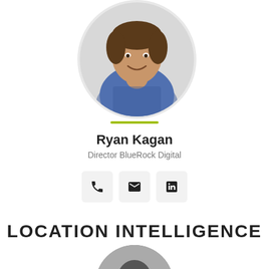[Figure (photo): Circular profile photo of Ryan Kagan, a man wearing a blue and white checked shirt, smiling.]
Ryan Kagan
Director BlueRock Digital
[Figure (infographic): Three contact icon buttons in light grey rounded boxes: phone, email (envelope), and LinkedIn logo.]
LOCATION INTELLIGENCE
[Figure (photo): Partially visible circular profile photo at the bottom of the page, showing a person's head from above.]